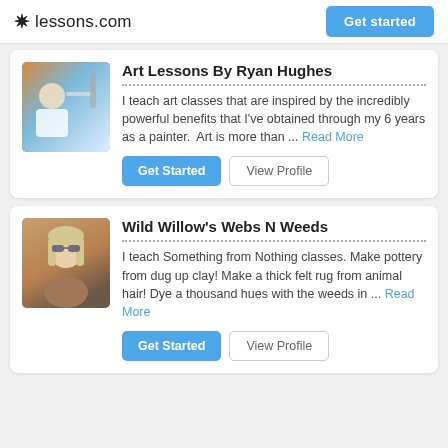lessons.com
Art Lessons By Ryan Hughes
I teach art classes that are inspired by the incredibly powerful benefits that I've obtained through my 6 years as a painter.  Art is more than ... Read More
Get Started
View Profile
Wild Willow's Webs N Weeds
I teach Something from Nothing classes. Make pottery from dug up clay! Make a thick felt rug from animal hair! Dye a thousand hues with the weeds in ... Read More
Get Started
View Profile